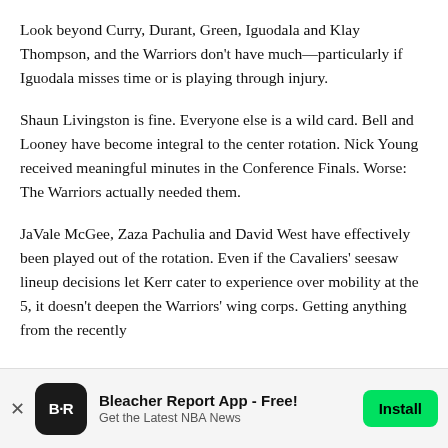Look beyond Curry, Durant, Green, Iguodala and Klay Thompson, and the Warriors don't have much—particularly if Iguodala misses time or is playing through injury.
Shaun Livingston is fine. Everyone else is a wild card. Bell and Looney have become integral to the center rotation. Nick Young received meaningful minutes in the Conference Finals. Worse: The Warriors actually needed them.
JaVale McGee, Zaza Pachulia and David West have effectively been played out of the rotation. Even if the Cavaliers' seesaw lineup decisions let Kerr cater to experience over mobility at the 5, it doesn't deepen the Warriors' wing corps. Getting anything from the recently
[Figure (other): Bleacher Report app advertisement banner with BR logo icon, title 'Bleacher Report App - Free!', subtitle 'Get the Latest NBA News', and a green Install button]